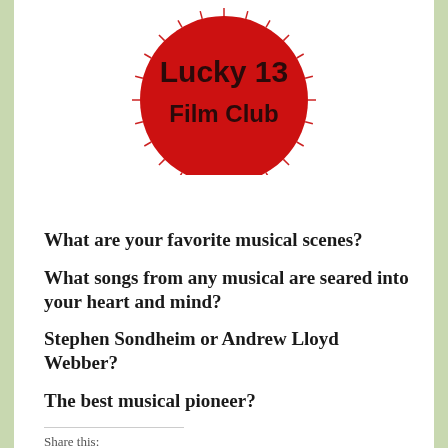[Figure (logo): Lucky 13 Film Club logo: red circle with white tick marks around the border, bold dark red text reading 'Lucky 13' and 'Film Club' on red background]
What are your favorite musical scenes?
What songs from any musical are seared into your heart and mind?
Stephen Sondheim or Andrew Lloyd Webber?
The best musical pioneer?
Share this:
[Figure (illustration): Three social share buttons: grey square icon, red Pinterest icon, green WhatsApp icon]